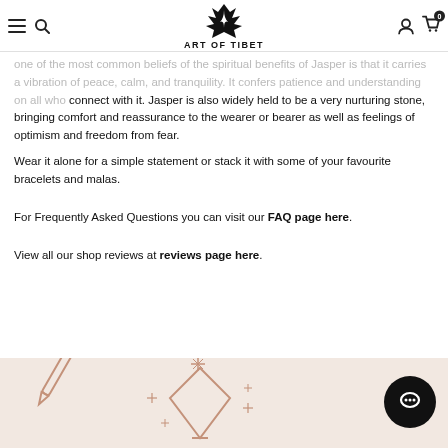Art of Tibet — navigation header with logo, menu, search, account, and cart icons
one of the most common beliefs of the spiritual benefits of Jasper is that it carries a vibration of peace, calm, and tranquility. It confers patience and understanding on all who connect with it. Jasper is also widely held to be a very nurturing stone, bringing comfort and reassurance to the wearer or bearer as well as feelings of optimism and freedom from fear.
Wear it alone for a simple statement or stack it with some of your favourite bracelets and malas.
For Frequently Asked Questions you can visit our FAQ page here.
View all our shop reviews at reviews page here.
[Figure (illustration): Footer area with pinkish-beige background showing decorative line art of crystals and sparkle stars, with a black circular chat button on the right]